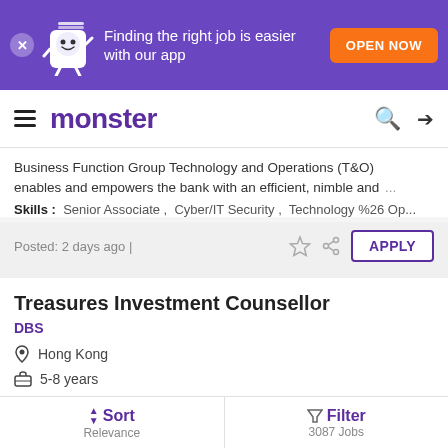[Figure (infographic): Purple app promotion banner with Monster mascot and orange OPEN NOW button. Text: Finding the right job is easier with our app]
monster
Business Function Group Technology and Operations (T&O) enables and empowers the bank with an efficient, nimble and ...
Skills : Senior Associate , Cyber/IT Security , Technology %26 Op...
Posted: 2 days ago |
Treasures Investment Counsellor
DBS
Hong Kong
5–8 years
Business Function As the leading bank in Asia, DBS Consumer
Sort Relevance   Filter 3087 Jobs